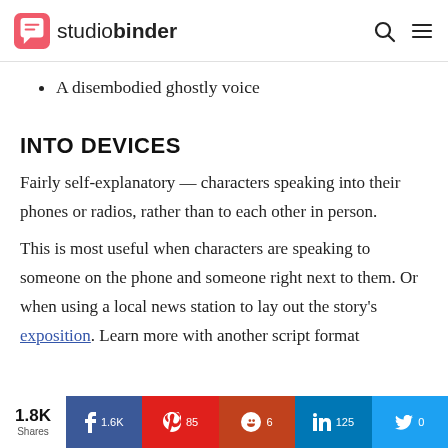studiobinder
A disembodied ghostly voice
INTO DEVICES
Fairly self-explanatory — characters speaking into their phones or radios, rather than to each other in person.
This is most useful when characters are speaking to someone on the phone and someone right next to them. Or when using a local news station to lay out the story's exposition. Learn more with another script format
1.8K Shares  1.6K  85  6  125  0